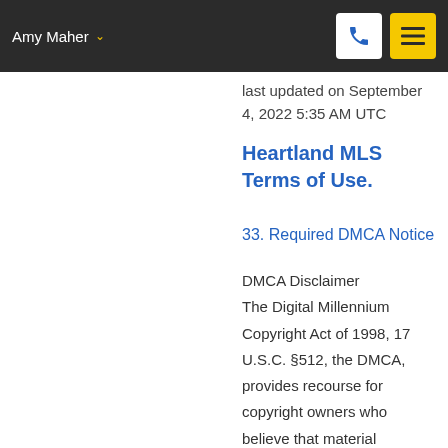Amy Maher
last updated on September 4, 2022 5:35 AM UTC
Heartland MLS Terms of Use.
33. Required DMCA Notice
DMCA Disclaimer
The Digital Millennium Copyright Act of 1998, 17 U.S.C. §512, the DMCA, provides recourse for copyright owners who believe that material appearing on the Internet